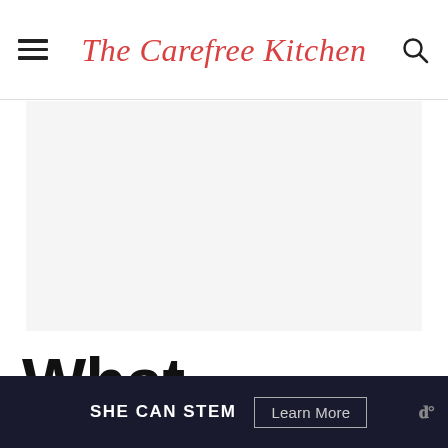The Carefree Kitchen
[Figure (other): Advertisement placeholder area, light gray background]
What
[Figure (other): SHE CAN STEM promotional banner with dark navy background, 'SHE CAN STEM' text and 'Learn More' button]